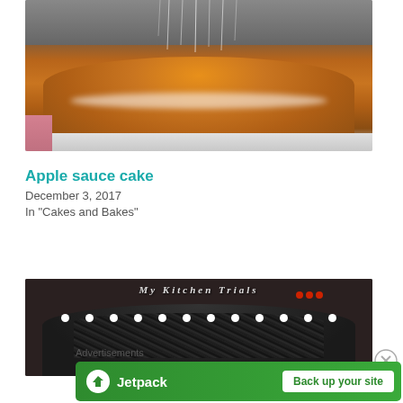[Figure (photo): A round cake being dusted with powdered sugar falling from above, sitting on a white plate]
Apple sauce cake
December 3, 2017
In "Cakes and Bakes"
[Figure (photo): A black forest cake decorated with white cream dollops and red cherries, with chocolate shavings on top. Text overlay reads 'My Kitchen Trials']
Advertisements
[Figure (other): Jetpack advertisement banner with logo and 'Back up your site' button on green background]